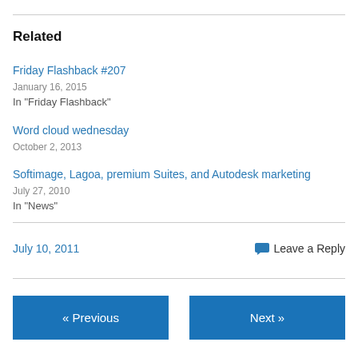Related
Friday Flashback #207
January 16, 2015
In "Friday Flashback"
Word cloud wednesday
October 2, 2013
Softimage, Lagoa, premium Suites, and Autodesk marketing
July 27, 2010
In "News"
July 10, 2011
Leave a Reply
« Previous
Next »